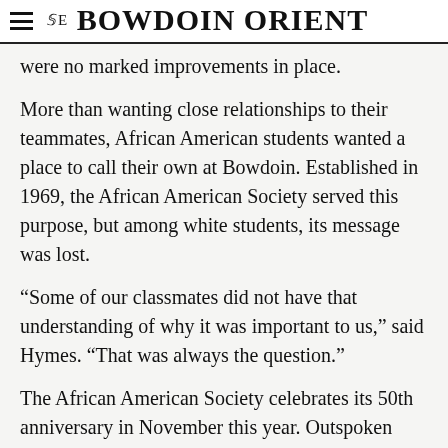THE BOWDOIN ORIENT
were no marked improvements in place.
More than wanting close relationships to their teammates, African American students wanted a place to call their own at Bowdoin. Established in 1969, the African American Society served this purpose, but among white students, its message was lost.
“Some of our classmates did not have that understanding of why it was important to us,” said Hymes. “That was always the question.”
The African American Society celebrates its 50th anniversary in November this year. Outspoken proponents in Bowdoin’s mission to create an inclusive